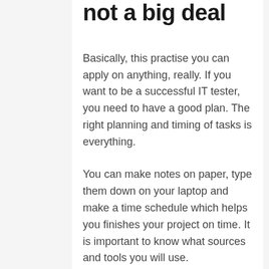not a big deal
Basically, this practise you can apply on anything, really. If you want to be a successful IT tester, you need to have a good plan. The right planning and timing of tasks is everything.
You can make notes on paper, type them down on your laptop and make a time schedule which helps you finishes your project on time. It is important to know what sources and tools you will use.
Have a test schedule ready to use. Moreover, you have to identify all risks